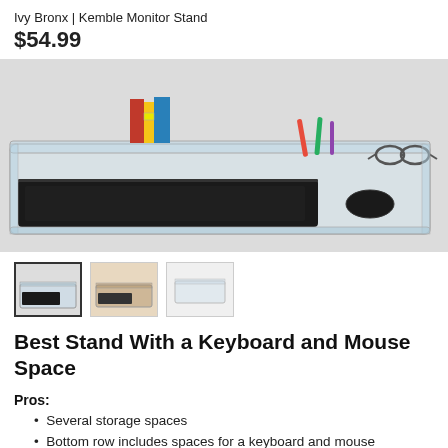Ivy Bronx | Kemble Monitor Stand
$54.99
[Figure (photo): Clear acrylic monitor stand with keyboard underneath and storage items on top shelf including books, pens, and glasses]
[Figure (photo): Thumbnail 1: monitor stand with keyboard (selected/active)]
[Figure (photo): Thumbnail 2: monitor stand in warm-toned setting]
[Figure (photo): Thumbnail 3: close-up or alternate view of monitor stand]
Best Stand With a Keyboard and Mouse Space
Pros:
Several storage spaces
Bottom row includes spaces for a keyboard and mouse
Made from thick acrylic
Non-slip stoppers on the bottom